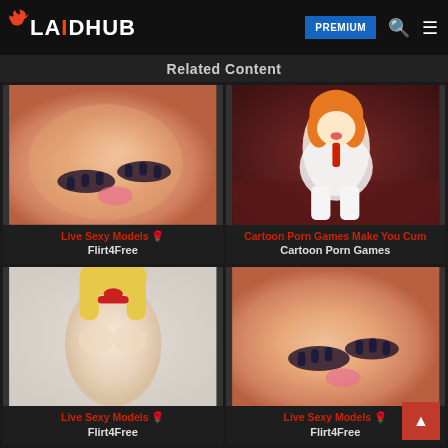LAIDHUB — PREMIUM
Related Content
[Figure (photo): Close-up photo of a woman's midsection with hands with dark nail polish]
Live Sexy Models 🌹
Flirt4Free
[Figure (illustration): Cartoon/anime style illustration with orange-haired character in white outfit on dark red background]
Cartoon Porn Games Make You Cum
Cartoon Porn Games
[Figure (photo): Photo of a blonde woman with a collar and bow tie, topless, in a light-colored room]
Live Sexy Models 🌹
Flirt4Free
[Figure (photo): Close-up photo of a woman's midsection with hands with dark nail polish]
Live Sexy Models 🌹
Flirt4Free